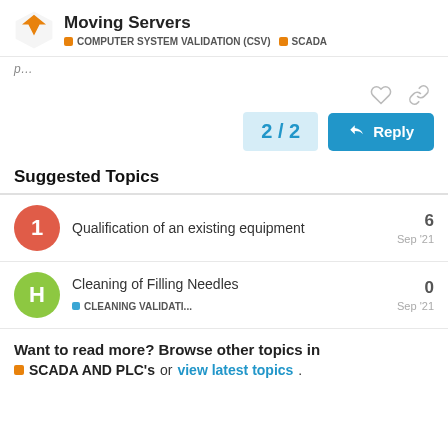Moving Servers | COMPUTER SYSTEM VALIDATION (CSV) | SCADA
(partial text cut off at top)
2 / 2
Reply
Suggested Topics
Qualification of an existing equipment — 6 replies — Sep '21
Cleaning of Filling Needles — CLEANING VALIDATI... — 0 replies — Sep '21
Want to read more? Browse other topics in SCADA AND PLC's or view latest topics.